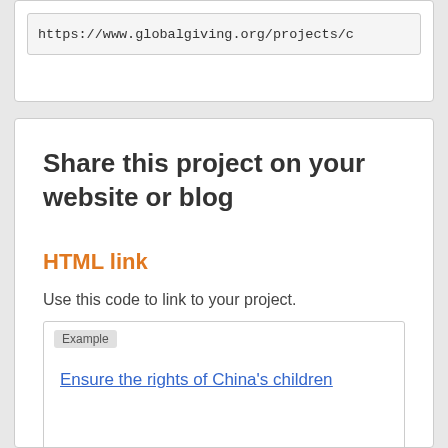https://www.globalgiving.org/projects/c
Share this project on your website or blog
HTML link
Use this code to link to your project.
Example
Ensure the rights of China's children
<a href="https://www.globalgiving.org/p
COPY CODE TO CLIPBOARD